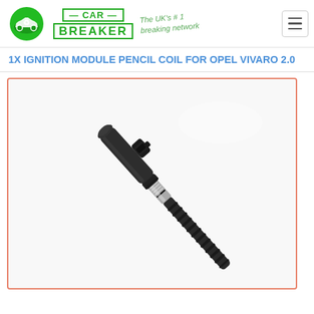[Figure (logo): Car Breaker logo with green recycling car icon and green brand text, tagline 'The UK's #1 breaking network']
1X IGNITION MODULE PENCIL COIL FOR OPEL VIVARO 2.0
[Figure (photo): Product photo of a pencil ignition coil — a long dark rubber/plastic cylinder with a chrome metallic section and an electrical connector, photographed on white background, oriented diagonally.]